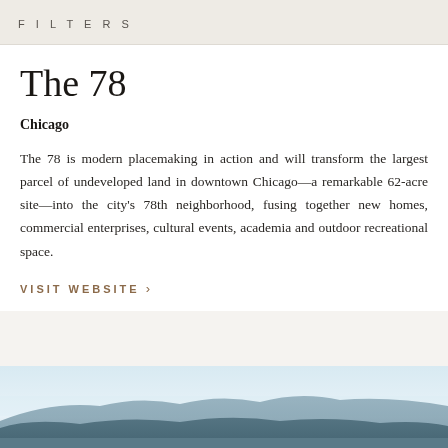FILTERS
The 78
Chicago
The 78 is modern placemaking in action and will transform the largest parcel of undeveloped land in downtown Chicago—a remarkable 62-acre site—into the city's 78th neighborhood, fusing together new homes, commercial enterprises, cultural events, academia and outdoor recreational space.
VISIT WEBSITE >
[Figure (photo): Landscape photo showing mountains or hills silhouetted against a pale sky with hazy atmosphere, likely a desert or rural scene.]